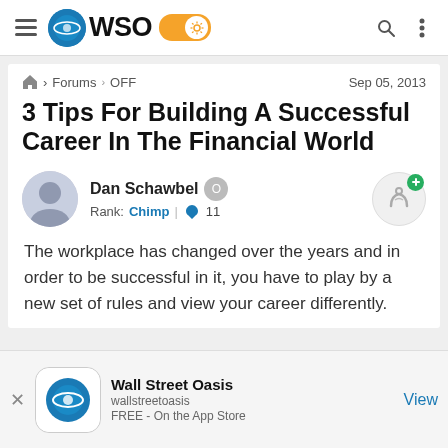WSO - Wall Street Oasis navigation bar
Forums › OFF   Sep 05, 2013
3 Tips For Building A Successful Career In The Financial World
Dan Schawbel  Rank: Chimp | 11
The workplace has changed over the years and in order to be successful in it, you have to play by a new set of rules and view your career differently.
Wall Street Oasis  wallstreetoasis  FREE - On the App Store  View